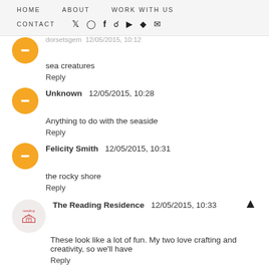HOME  ABOUT  WORK WITH US  CONTACT
dorsetsgem 12/05/2015, 10:12
sea creatures
Reply
Unknown  12/05/2015, 10:28
Anything to do with the seaside
Reply
Felicity Smith  12/05/2015, 10:31
the rocky shore
Reply
The Reading Residence  12/05/2015, 10:33
These look like a lot of fun. My two love crafting and creativity, so we'll have
Reply